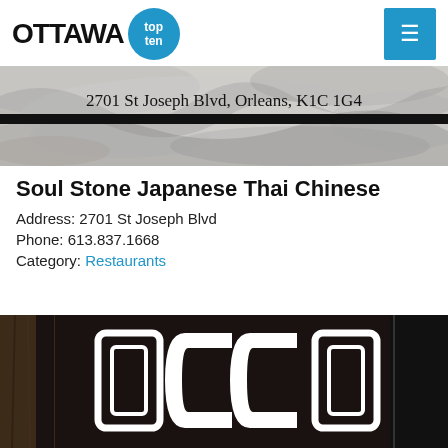Ottawa Top Ten
[Figure (photo): Smoky marble-textured banner image with text '2701 St Joseph Blvd, Orleans, K1C 1G4' overlaid]
Soul Stone Japanese Thai Chinese
Address: 2701 St Joseph Blvd
Phone: 613.837.1668
Category: Restaurants
[Figure (photo): Dark restaurant sign photo with large stylized letters 'OCCO' in white on black background]